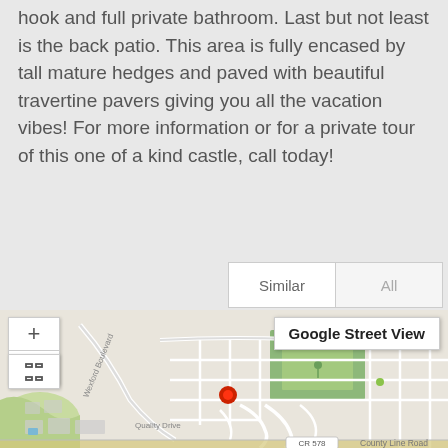hook and full private bathroom. Last but not least is the back patio. This area is fully encased by tall mature hedges and paved with beautiful travertine pavers giving you all the vacation vibes! For more information or for a private tour of this one of a kind castle, call today!
[Figure (screenshot): A tab bar with 'Similar' and 'All' options, followed by a Google Maps view showing the property location with a red pin marker, zoom controls, a fullscreen button, and a Google Street View button. Street labels visible include Coronado Drive, Wexford Boulevard, Quality Drive, CR 578, and County Line Road.]